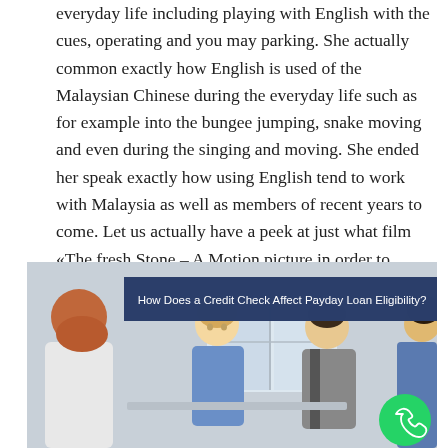everyday life including playing with English with the cues, operating and you may parking. She actually common exactly how English is used of the Malaysian Chinese during the everyday life such as for example into the bungee jumping, snake moving and even during the singing and moving. She ended her speak exactly how using English tend to work with Malaysia as well as members of recent years to come. Let us actually have a peek at just what film «The fresh Stone – A Motion picture in order to scare your» is all about.
[Figure (photo): Banner image showing women in a meeting/office setting with the heading 'How Does a Credit Check Affect Payday Loan Eligibility?' overlaid on a dark blue banner. A green WhatsApp button appears in the bottom right corner.]